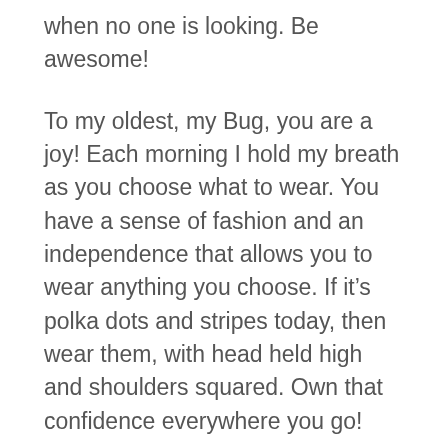when no one is looking. Be awesome!
To my oldest, my Bug, you are a joy! Each morning I hold my breath as you choose what to wear. You have a sense of fashion and an independence that allows you to wear anything you choose. If it's polka dots and stripes today, then wear them, with head held high and shoulders squared. Own that confidence everywhere you go!
Please Sweetie, wear your glasses. The jeers will go away, but the headaches won't. Hopefully you won't be four eyes